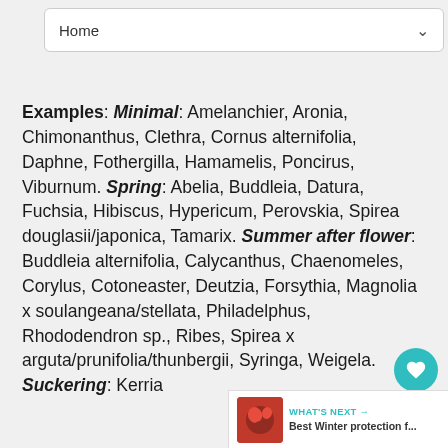Home
Examples: Minimal: Amelanchier, Aronia, Chimonanthus, Clethra, Cornus alternifolia, Daphne, Fothergilla, Hamamelis, Poncirus, Viburnum. Spring: Abelia, Buddleia, Datura, Fuchsia, Hibiscus, Hypericum, Perovskia, Spirea douglasii/japonica, Tamarix. Summer after flower: Buddleia alternifolia, Calycanthus, Chaenomeles, Corylus, Cotoneaster, Deutzia, Forsythia, Magnolia x soulangeana/stellata, Philadelphus, Rhododendron sp., Ribes, Spirea x arguta/prunifolia/thunbergii, Syringa, Weigela. Suckering: Kerria